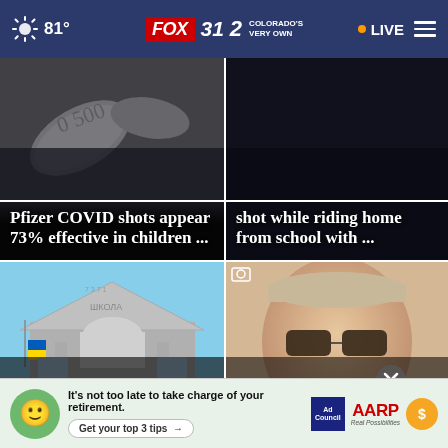81° FOX 31 2 COLORADO'S VERY OWN • LIVE
[Figure (screenshot): News thumbnail: pills/medication image for Pfizer COVID story]
Pfizer COVID shots appear 73% effective in children ...
[Figure (screenshot): Dark news thumbnail for shooting while riding home from school story]
shot while riding home from school with ...
[Figure (photo): Ukrainian school building with Ukrainian flag]
How tiny, volunteer nonprofit raised $57... million
[Figure (photo): Man wearing sunglasses and baseball cap, security camera footage]
Do you recognize he... ise
[Figure (infographic): AARP ad banner: It's not too late to take charge of your retirement. Get your top 3 tips. Ad Council AARP Real Possibilities.]